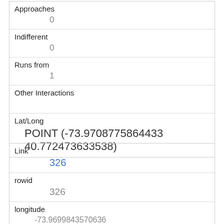| Approaches | 0 |
| Indifferent | 0 |
| Runs from | 1 |
| Other Interactions |  |
| Lat/Long | POINT (-73.9708775864433 40.772473633538) |
| Link | 326 |
| rowid | 326 |
| longitude | -73.9699843570636 |
| latitude | 40.7729480440312 |
| Unique Squirrel ID | 10C-AM-1006-01 |